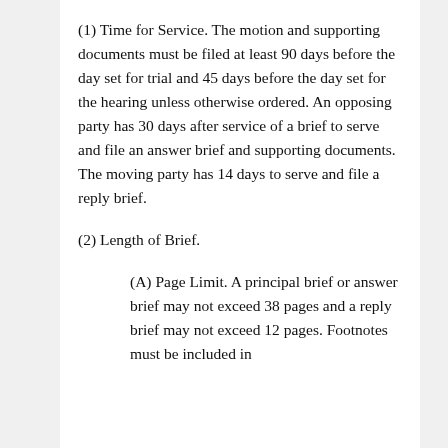(1) Time for Service. The motion and supporting documents must be filed at least 90 days before the day set for trial and 45 days before the day set for the hearing unless otherwise ordered. An opposing party has 30 days after service of a brief to serve and file an answer brief and supporting documents. The moving party has 14 days to serve and file a reply brief.
(2) Length of Brief.
(A) Page Limit. A principal brief or answer brief may not exceed 38 pages and a reply brief may not exceed 12 pages. Footnotes must be included in